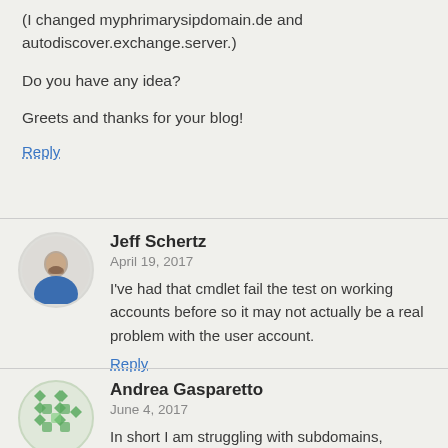(I changed myphrimarysipdomain.de and autodiscover.exchange.server.)
Do you have any idea?
Greets and thanks for your blog!
Reply
Jeff Schertz
April 19, 2017
I've had that cmdlet fail the test on working accounts before so it may not actually be a real problem with the user account.
Reply
Andrea Gasparetto
June 4, 2017
In short I am struggling with subdomains, because my ad is a subdomain of my dns namespace.
Reply